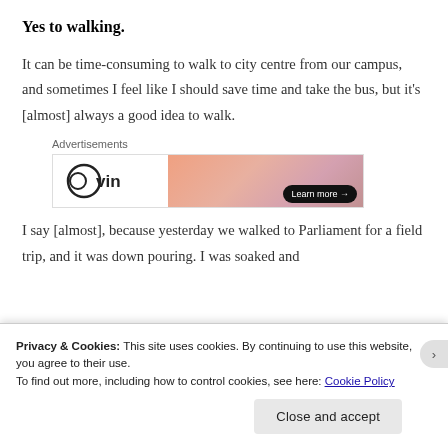Yes to walking.
It can be time-consuming to walk to city centre from our campus, and sometimes I feel like I should save time and take the bus, but it’s [almost] always a good idea to walk.
[Figure (other): Advertisement banner showing 'Advertisements' label above a banner with a logo area on the left (circular icon with 'win' text) and a gradient orange/pink background on the right with a 'Learn more →' button.]
I say [almost], because yesterday we walked to Parliament for a field trip, and it was down pouring. I was soaked and
Privacy & Cookies: This site uses cookies. By continuing to use this website, you agree to their use.
To find out more, including how to control cookies, see here: Cookie Policy
Close and accept